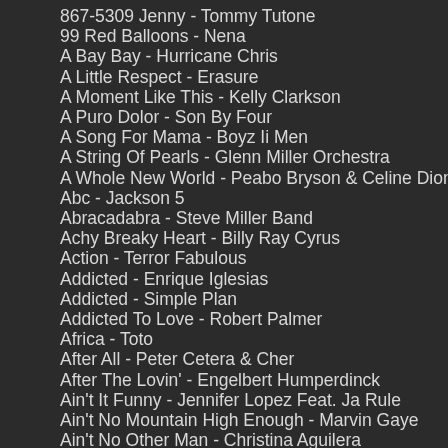867-5309 Jenny - Tommy Tutone
99 Red Balloons - Nena
A Bay Bay - Hurricane Chris
A Little Respect - Erasure
A Moment Like This - Kelly Clarkson
A Puro Dolor - Son By Four
A Song For Mama - Boyz Ii Men
A String Of Pearls - Glenn Miller Orchestra
A Whole New World - Peabo Bryson & Celine Dion
Abc - Jackson 5
Abracadabra - Steve Miller Band
Achy Breaky Heart - Billy Ray Cyrus
Action - Terror Fabulous
Addicted - Enrique Iglesias
Addicted - Simple Plan
Addicted To Love - Robert Palmer
Africa - Toto
After All - Peter Cetera & Cher
After The Lovin' - Engelbert Humperdinck
Ain't It Funny - Jennifer Lopez Feat. Ja Rule
Ain't No Mountain High Enough - Marvin Gaye
Ain't No Other Man - Christina Aguilera